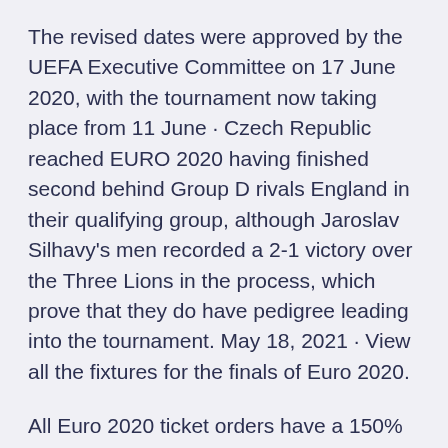The revised dates were approved by the UEFA Executive Committee on 17 June 2020, with the tournament now taking place from 11 June · Czech Republic reached EURO 2020 having finished second behind Group D rivals England in their qualifying group, although Jaroslav Silhavy's men recorded a 2-1 victory over the Three Lions in the process, which prove that they do have pedigree leading into the tournament. May 18, 2021 · View all the fixtures for the finals of Euro 2020.
All Euro 2020 ticket orders have a 150% money-back guarantee. Jul 27, 2018 · UEFA Euro 2020 matches fixtures, schedule. Rome's Stadio Olimpico will be hosting opening game of Euro 2021 on June 12 from 9:00 PM onwards. Meanwhile final is scheduled to be